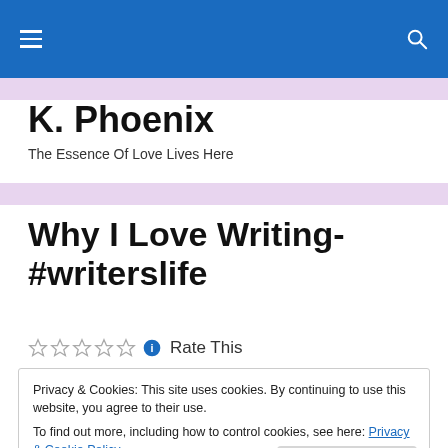K. Phoenix — navigation bar with hamburger menu and search icon
K. Phoenix
The Essence Of Love Lives Here
Why I Love Writing- #writerslife
Rate This
Privacy & Cookies: This site uses cookies. By continuing to use this website, you agree to their use.
To find out more, including how to control cookies, see here: Privacy & Cookie Policy
Close and accept